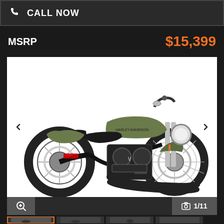CALL NOW
MSRP  $15,399
[Figure (photo): Side profile photo of a Harley-Davidson motorcycle in olive/army green color with black engine and exhaust, chrome front fork, spoked front wheel, on white background. Navigation arrows visible on left and right sides.]
1/11